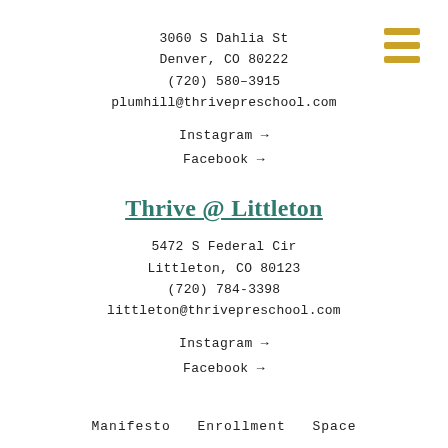3060 S Dahlia St
Denver, CO 80222
(720) 580–3915
plumhill@thrivepreschool.com
Instagram →
Facebook →
Thrive @ Littleton
5472 S Federal Cir
Littleton, CO 80123
(720) 784-3398
littleton@thrivepreschool.com
Instagram →
Facebook →
Manifesto  Enrollment  Space